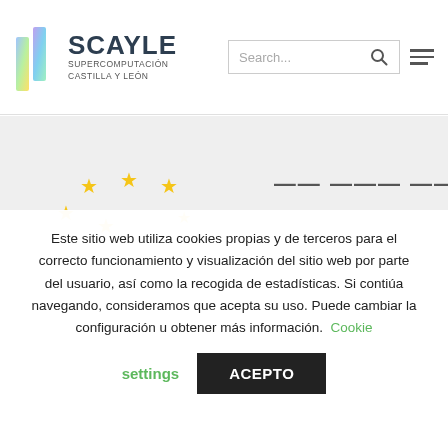[Figure (logo): SCAYLE Supercomputación Castilla y León logo with colorful vertical bar icon]
[Figure (screenshot): Search box with Search... placeholder and magnifying glass icon, plus hamburger menu icon]
[Figure (illustration): Grey banner section with EU-style yellow stars arc visible, partially cropped text]
Este sitio web utiliza cookies propias y de terceros para el correcto funcionamiento y visualización del sitio web por parte del usuario, así como la recogida de estadísticas. Si contiúa navegando, consideramos que acepta su uso. Puede cambiar la configuración u obtener más información. Cookie settings ACEPTO